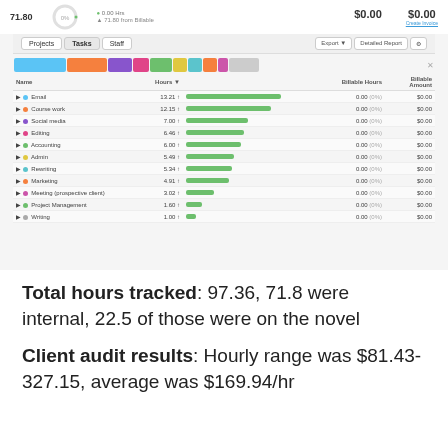[Figure (screenshot): Time tracking application screenshot showing a Tasks tab with colored bars for tasks including Email, Course work, Social media, Editing, Accounting, Admin, Rewriting, Marketing, Meeting (prospective client), Project Management, and Writing. Each row shows hours, a green progress bar, billable hours (0.00, 0%), and billable amount ($0.00). Top stats show 71.80, 0%, $0.00, $0.00 with Create Invoice link.]
Total hours tracked: 97.36, 71.8 were internal, 22.5 of those were on the novel
Client audit results: Hourly range was $81.43-327.15, average was $169.94/hr